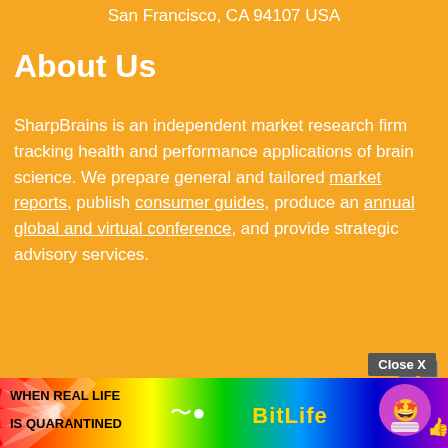San Francisco, CA 94107 USA
About Us
SharpBrains is an independent market research firm tracking health and performance applications of brain science. We prepare general and tailored market reports, publish consumer guides, produce an annual global and virtual conference, and provide strategic advisory services.
[Figure (infographic): Advertisement banner for BitLife app with colorful rainbow background, text 'WHEN REAL LIFE IS QUARANTINED' on left, sperm icon in middle, BitLife logo, and cartoon character with star eyes. Close X button and help/close icons visible above ad.]